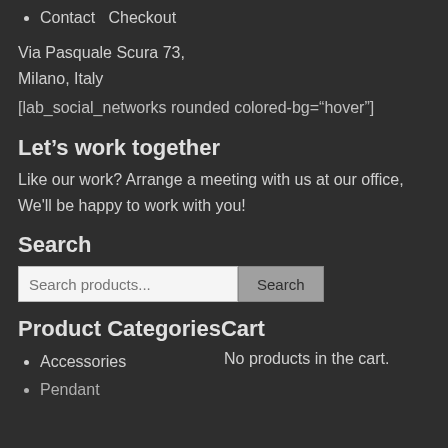Contact   Checkout
Via Pasquale Scura 73,
Milano, Italy
[lab_social_networks rounded colored-bg="hover"]
Let's work together
Like our work? Arrange a meeting with us at our office, We'll be happy to work with you!
Search
Search products...  Search
Product CategoriesCart
Accessories
No products in the cart.
Pendant